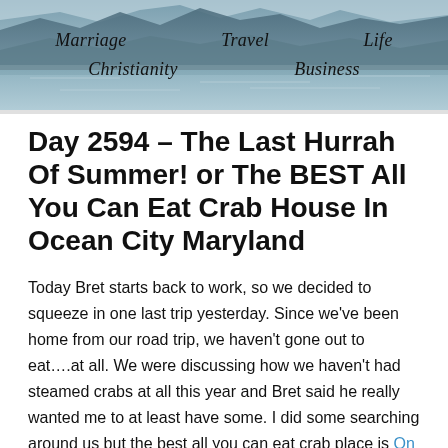Marriage   Travel   Life   Christianity   Business
Day 2594 – The Last Hurrah Of Summer! or The BEST All You Can Eat Crab House In Ocean City Maryland
Today Bret starts back to work, so we decided to squeeze in one last trip yesterday. Since we've been home from our road trip, we haven't gone out to eat….at all. We were discussing how we haven't had steamed crabs at all this year and Bret said he really wanted me to at least have some. I did some searching around us but the best all you can eat crab place is On The Bay Seafood on 42nd street